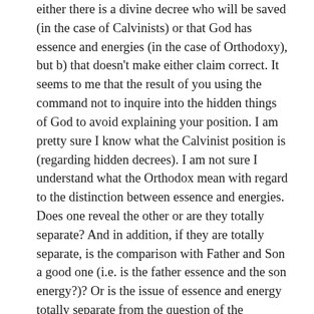either there is a divine decree who will be saved (in the case of Calvinists) or that God has essence and energies (in the case of Orthodoxy), but b) that doesn't make either claim correct. It seems to me that the result of you using the command not to inquire into the hidden things of God to avoid explaining your position. I am pretty sure I know what the Calvinist position is (regarding hidden decrees). I am not sure I understand what the Orthodox mean with regard to the distinction between essence and energies. Does one reveal the other or are they totally separate? And in addition, if they are totally separate, is the comparison with Father and Son a good one (i.e. is the father essence and the son energy?)? Or is the issue of essence and energy totally separate from the question of the relations in the Trinity.
Also, your response seems to address those already convinced of Orthodoxy: "Is it not